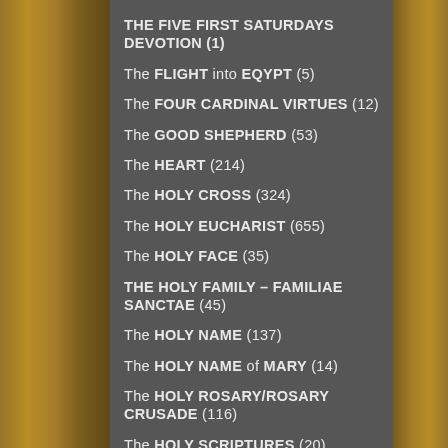THE FIVE FIRST SATURDAYS DEVOTION (1)
The FLIGHT into EQYPT (5)
The FOUR CARDINAL VIRTUES (12)
The GOOD SHEPHERD (53)
The HEART (214)
The HOLY CROSS (324)
The HOLY EUCHARIST (655)
The HOLY FACE (35)
THE HOLY FAMILY – FAMILIAE SANCTAE (45)
The HOLY NAME (137)
The HOLY NAME of MARY (14)
The HOLY ROSARY/ROSARY CRUSADE (116)
The HOLY SCRIPTURES (20)